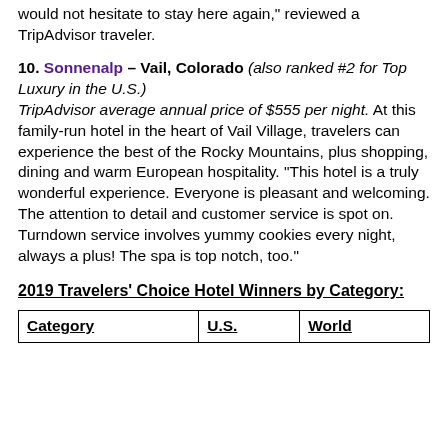would not hesitate to stay here again, reviewed a TripAdvisor traveler.
10. Sonnenalp – Vail, Colorado (also ranked #2 for Top Luxury in the U.S.) TripAdvisor average annual price of $555 per night. At this family-run hotel in the heart of Vail Village, travelers can experience the best of the Rocky Mountains, plus shopping, dining and warm European hospitality. "This hotel is a truly wonderful experience. Everyone is pleasant and welcoming. The attention to detail and customer service is spot on. Turndown service involves yummy cookies every night, always a plus! The spa is top notch, too."
2019 Travelers' Choice Hotel Winners by Category:
| Category | U.S. | World |
| --- | --- | --- |